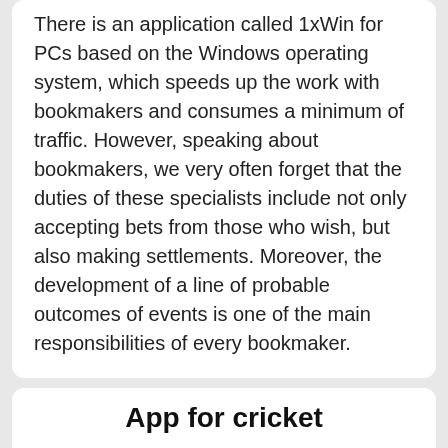There is an application called 1xWin for PCs based on the Windows operating system, which speeds up the work with bookmakers and consumes a minimum of traffic. However, speaking about bookmakers, we very often forget that the duties of these specialists include not only accepting bets from those who wish, but also making settlements. Moreover, the development of a line of probable outcomes of events is one of the main responsibilities of every bookmaker.
App for cricket
The task of 1xBet mobile analysts is to learn about the course of the event and react accordingly. Cricket betting includes parameters such as line out time, i.e. how quickly events appear available for bets, as well as a list of events. The faster the line comes out, the more